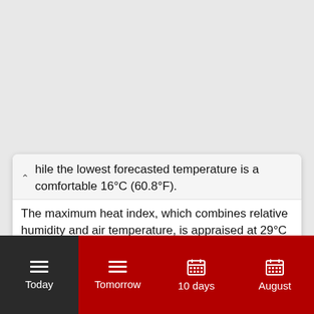hile the lowest forecasted temperature is a comfortable 16°C (60.8°F). The maximum heat index, which combines relative humidity and air temperature, is appraised at 29°C (84.2°F). Sunrise was at 6:32 am and sunset will be at 8:07 pm; the daylight will last for 13h and 35min.
Today | Tomorrow | 10 days | August